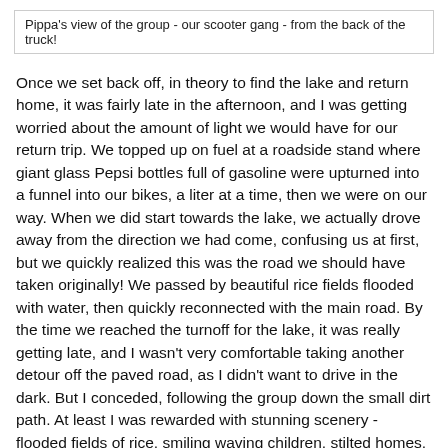Pippa's view of the group - our scooter gang - from the back of the truck!
Once we set back off, in theory to find the lake and return home, it was fairly late in the afternoon, and I was getting worried about the amount of light we would have for our return trip.  We topped up on fuel at a roadside stand where giant glass Pepsi bottles full of gasoline were upturned into a funnel into our bikes, a liter at a time, then we were on our way.  When we did start towards the lake, we actually drove away from the direction we had come, confusing us at first, but we quickly realized this was the road we should have taken originally!  We passed by beautiful rice fields flooded with water, then quickly reconnected with the main road.  By the time we reached the turnoff for the lake, it was really getting late, and I wasn't very comfortable taking another detour off the paved road, as I didn't want to drive in the dark.  But I conceded, following the group down the small dirt path.  At least I was rewarded with stunning scenery - flooded fields of rice, smiling waving children, stilted homes, and idling white cows.